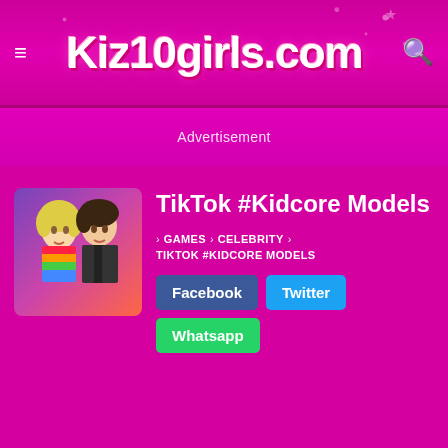Kiz10girls.com
Advertisement
[Figure (illustration): Game thumbnail showing two cartoon female characters in colorful outfits]
TikTok #Kidcore Models
GAMES › CELEBRITY › TIKTOK #KIDCORE MODELS
Facebook  Twitter  Whatsapp